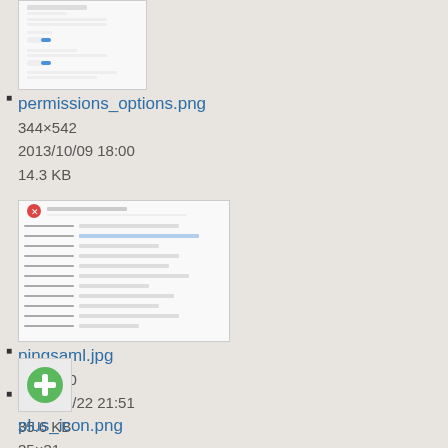[Figure (screenshot): Thumbnail of permissions_options.png showing a mobile app permissions settings screen]
permissions_options.png
344×542
2013/10/09 18:00
14.3 KB
[Figure (screenshot): Thumbnail of pingsaml.jpg showing a SAML configuration form]
pingsaml.jpg
531×360
2015/09/22 21:51
35.6 KB
[Figure (illustration): Thumbnail of plus_icon.png showing a green plus/add icon]
plus_icon.png
35×31
2013/12/13 18:03
1.1 KB